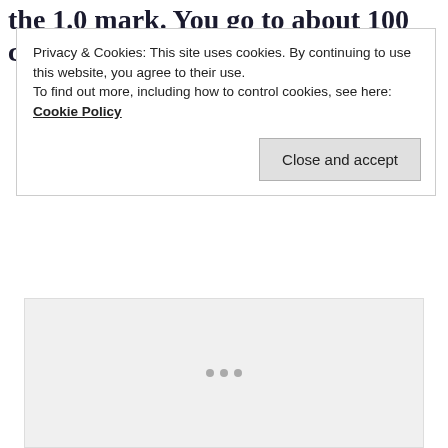the 1.0 mark. You go to about 100 cases per million
Privacy & Cookies: This site uses cookies. By continuing to use this website, you agree to their use.
To find out more, including how to control cookies, see here: Cookie Policy
Close and accept
[Figure (other): Loading spinner or placeholder content area with three dots indicator]